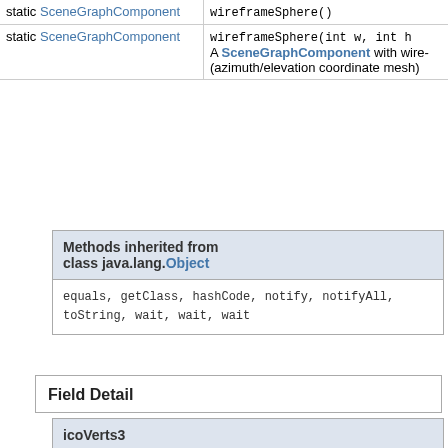| Type | Method |
| --- | --- |
| static SceneGraphComponent | wireframeSphere() |
| static SceneGraphComponent | wireframeSphere(int w, int h)
A SceneGraphComponent with wire- (azimuth/elevation coordinate mesh) |
Methods inherited from class java.lang.Object
equals, getClass, hashCode, notify, notifyAll, toString, wait, wait, wait
Field Detail
icoVerts3
public static double[][] icoVerts3
sharedIcosahedron
public static IndexedFaceSet sharedIcosahedron